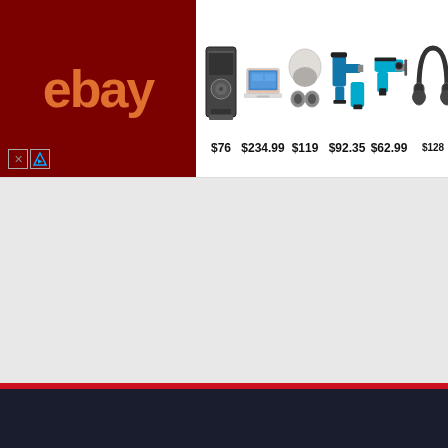[Figure (screenshot): eBay advertisement banner showing product items with prices: $76 (speaker), $234.99 (laptop), $119 (earbuds), $92.35 (power tools), $62.99 (tool), $128 (headphones). eBay logo in dark red on left. Close and AdChoices buttons at bottom-left of logo block.]
[Figure (screenshot): Browser scroll-up UI chevron button area, white rounded box showing upward caret symbol]
[Figure (screenshot): Dark navy footer area with red top stripe and red back-to-top button containing white upward chevron]